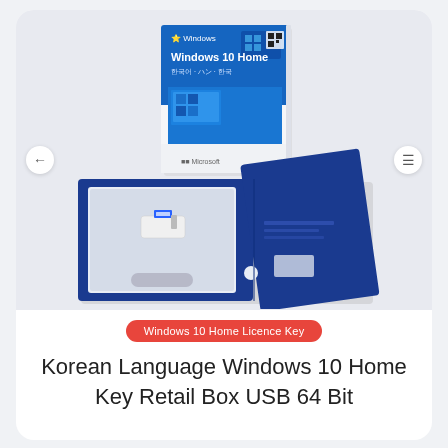[Figure (photo): Product photo showing Windows 10 Home retail box (top) and open blue USB retail box with USB drive (bottom)]
Windows 10 Home Licence Key
Korean Language Windows 10 Home Key Retail Box USB 64 Bit